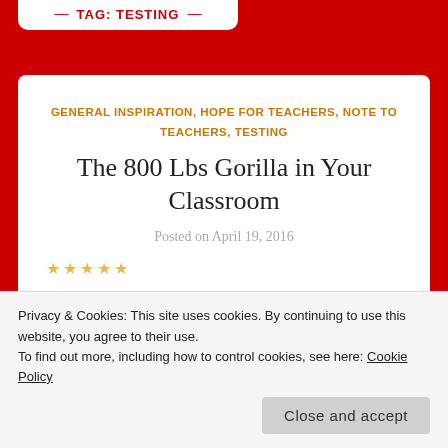TAG: TESTING
GENERAL INSPIRATION, HOPE FOR TEACHERS, NOTE TO TEACHERS, TESTING
The 800 Lbs Gorilla in Your Classroom
Posted on April 19, 2016
Privacy & Cookies: This site uses cookies. By continuing to use this website, you agree to their use. To find out more, including how to control cookies, see here: Cookie Policy